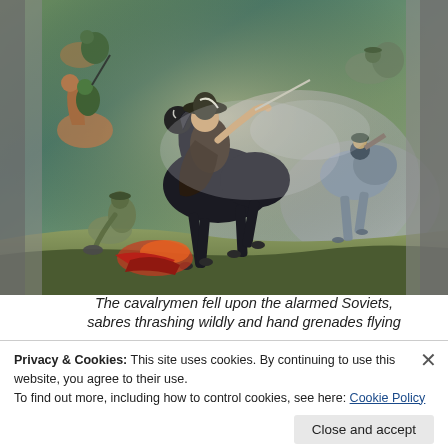[Figure (illustration): A colorful illustration of cavalrymen on horseback in battle, with a central black horse and rider. Soldiers with sabres and hand grenades are depicted in a chaotic cavalry charge scene, with fallen figures on the ground. The image has dark strips on the left and right edges suggesting it is part of a book or magazine page scan.]
The cavalrymen fell upon the alarmed Soviets, sabres thrashing wildly and hand grenades flying
Privacy & Cookies: This site uses cookies. By continuing to use this website, you agree to their use.
To find out more, including how to control cookies, see here: Cookie Policy